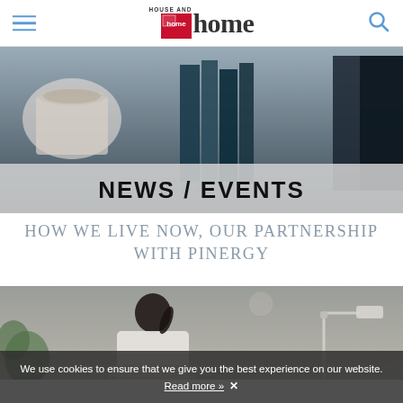HOUSE AND home
[Figure (photo): Hero image showing a coffee cup, books, and an energy meter display showing 14.72 and 2.43, with a semi-transparent NEWS / EVENTS banner overlay]
NEWS / EVENTS
HOW WE LIVE NOW, OUR PARTNERSHIP WITH PINERGY
[Figure (photo): Photo of a woman with dark hair in a ponytail, wearing a white top, sitting at a desk working, with a desk lamp visible on the right]
We use cookies to ensure that we give you the best experience on our website. Read more »  ✕